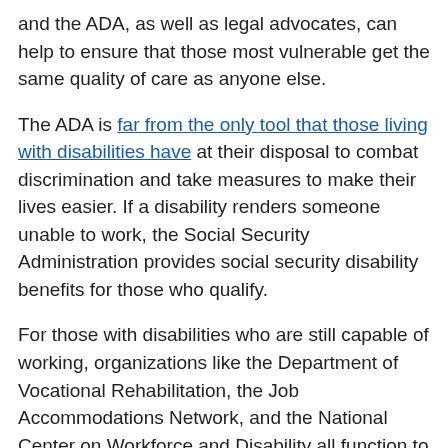and the ADA, as well as legal advocates, can help to ensure that those most vulnerable get the same quality of care as anyone else.
The ADA is far from the only tool that those living with disabilities have at their disposal to combat discrimination and take measures to make their lives easier. If a disability renders someone unable to work, the Social Security Administration provides social security disability benefits for those who qualify.
For those with disabilities who are still capable of working, organizations like the Department of Vocational Rehabilitation, the Job Accommodations Network, and the National Center on Workforce and Disability all function to facilitate the job hunt for people living with disabilities.
At School
Having a disability shouldn't prevent anyone from receiving a